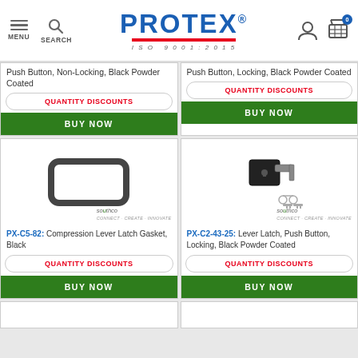PROTEX ISO 9001:2015 — MENU | SEARCH | Account | Cart (0)
Push Button, Non-Locking, Black Powder Coated
QUANTITY DISCOUNTS
BUY NOW
Push Button, Locking, Black Powder Coated
QUANTITY DISCOUNTS
BUY NOW
[Figure (photo): Southco Compression Lever Latch Gasket, black rubber rectangular gasket with rounded corners on white background with Southco logo]
PX-C5-82: Compression Lever Latch Gasket, Black
QUANTITY DISCOUNTS
BUY NOW
[Figure (photo): Southco Lever Latch Push Button Locking black powder coated latch with two keys on white background with Southco logo]
PX-C2-43-25: Lever Latch, Push Button, Locking, Black Powder Coated
QUANTITY DISCOUNTS
BUY NOW